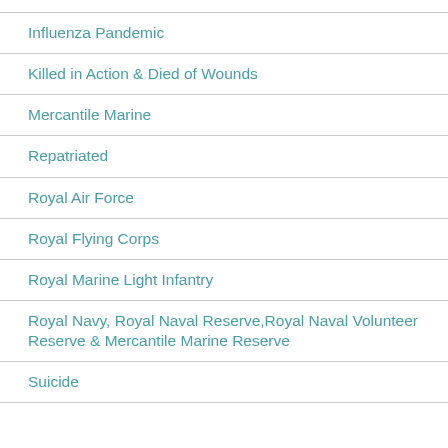Influenza Pandemic
Killed in Action & Died of Wounds
Mercantile Marine
Repatriated
Royal Air Force
Royal Flying Corps
Royal Marine Light Infantry
Royal Navy, Royal Naval Reserve,Royal Naval Volunteer Reserve & Mercantile Marine Reserve
Suicide